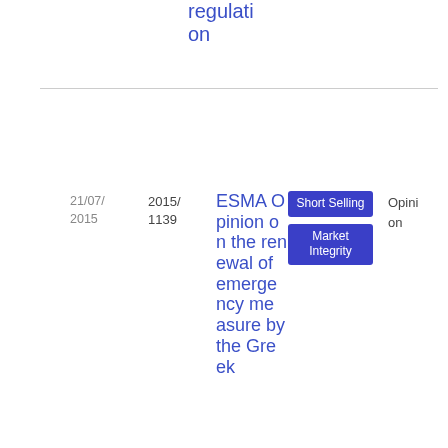regulation
| Date | Reference | Title | Tags | Type | File |
| --- | --- | --- | --- | --- | --- |
| 21/07/2015 | 2015/1139 | ESMA Opinion on the renewal of emergency measures by the Greek... | Short Selling | Market Integrity | Opinion | PDF 114.23 KB |